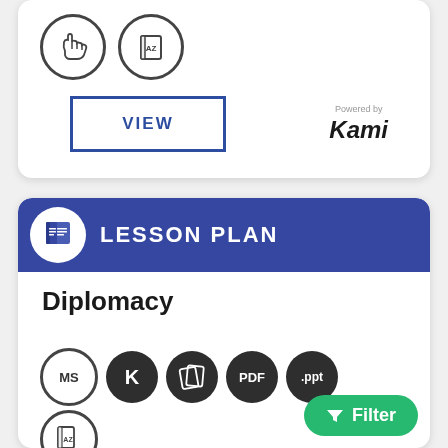[Figure (illustration): Top card with hand gesture icon and AZ book icon, with VIEW button and Kami branding]
[Figure (illustration): Lesson Plan banner with book icon, Diplomacy title, and format badge icons (MS, K, slanted pages, PDF, .ppt, AZ) with green Filter button]